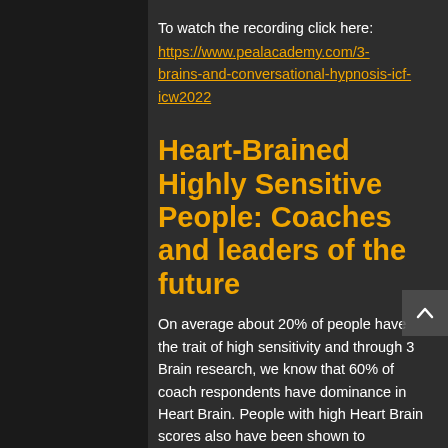To watch the recording click here:
https://www.pealacademy.com/3-brains-and-conversational-hypnosis-icf-icw2022
Heart-Brained Highly Sensitive People: Coaches and leaders of the future
On average about 20% of people have the trait of high sensitivity and through 3 Brain research, we know that 60% of coach respondents have dominance in Heart Brain. People with high Heart Brain scores also have been shown to